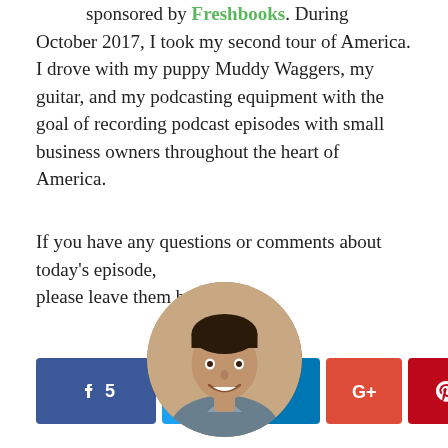sponsored by Freshbooks. During October 2017, I took my second tour of America. I drove with my puppy Muddy Waggers, my guitar, and my podcasting equipment with the goal of recording podcast episodes with small business owners throughout the heart of America.
If you have any questions or comments about today's episode, please leave them below.
[Figure (infographic): Social share buttons: Facebook (5 shares), Twitter, LinkedIn, Google+, Pinterest, and a generic share icon with SHARES label]
[Figure (photo): Circular profile photo of a smiling man with short dark hair, wearing a grey shirt]